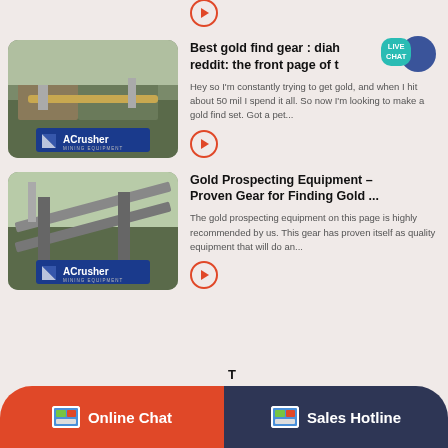[Figure (other): ACrusher Mining Equipment thumbnail image - quarry/mining site with logo badge]
[Figure (other): ACrusher Mining Equipment thumbnail image - mining processing plant with logo badge, with LIVE CHAT bubble in top right]
Best gold find gear : diah reddit: the front page of t
Hey so I'm constantly trying to get gold, and when I hit about 50 mil I spend it all. So now I'm looking to make a gold find set. Got a pet...
[Figure (other): ACrusher Mining Equipment thumbnail image - mining conveyor plant with logo badge]
Gold Prospecting Equipment – Proven Gear for Finding Gold ...
The gold prospecting equipment on this page is highly recommended by us. This gear has proven itself as quality equipment that will do an...
Online Chat
Sales Hotline